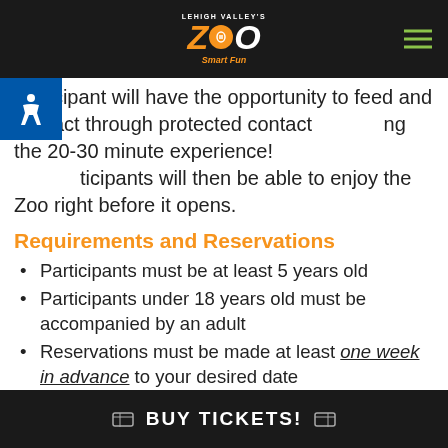Lehigh Valley Zoo - Smart Fun
participant will have the opportunity to feed and interact through protected contact during the 20-30 minute experience! Participants will then be able to enjoy the Zoo right before it opens.
Requirements and Reservations
Participants must be at least 5 years old
Participants under 18 years old must be accompanied by an adult
Reservations must be made at least one week in advance to your desired date
Masks are required for this encounter
Pricing
Experiences are limited to twice a week